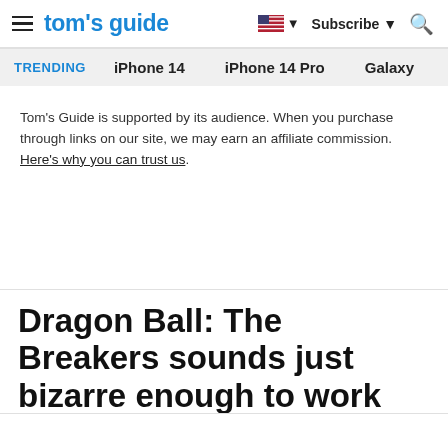tom's guide — Subscribe
TRENDING   iPhone 14   iPhone 14 Pro   Galaxy
Tom's Guide is supported by its audience. When you purchase through links on our site, we may earn an affiliate commission. Here's why you can trust us.
Dragon Ball: The Breakers sounds just bizarre enough to work